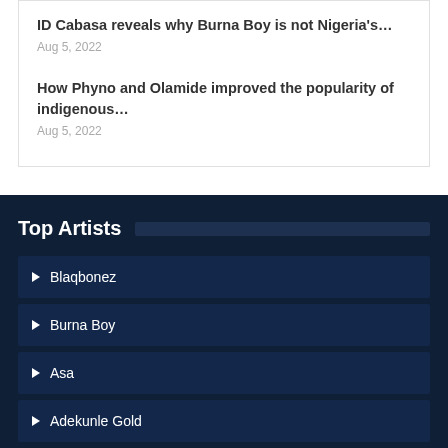ID Cabasa reveals why Burna Boy is not Nigeria's…
Aug 5, 2022
How Phyno and Olamide improved the popularity of indigenous…
Aug 5, 2022
Top Artists
Blaqbonez
Burna Boy
Asa
Adekunle Gold